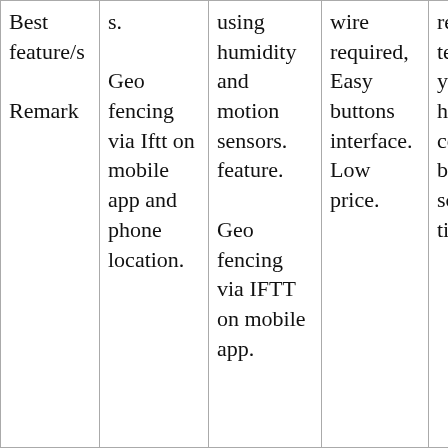| Best feature/s

Remark | s.

Geo fencing via Iftt on mobile app and phone location. | using humidity and motion sensors. feature.

Geo fencing via IFTT on mobile app. | wire required,Easy buttons interface.Low price. | response technology (Starts heating cooling before schedule time) |